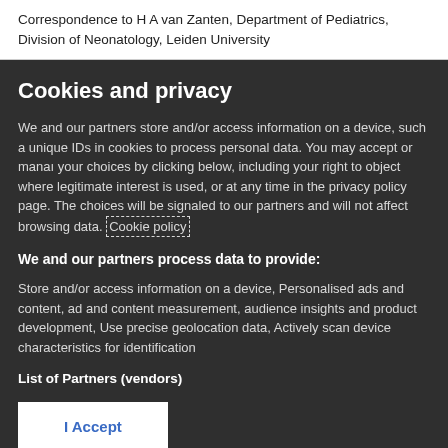Correspondence to H A van Zanten, Department of Pediatrics, Division of Neonatology, Leiden University
Cookies and privacy
We and our partners store and/or access information on a device, such a unique IDs in cookies to process personal data. You may accept or manage your choices by clicking below, including your right to object where legitimate interest is used, or at any time in the privacy policy page. These choices will be signaled to our partners and will not affect browsing data. Cookie policy
We and our partners process data to provide:
Store and/or access information on a device, Personalised ads and content, ad and content measurement, audience insights and product development, Use precise geolocation data, Actively scan device characteristics for identification
List of Partners (vendors)
I Accept